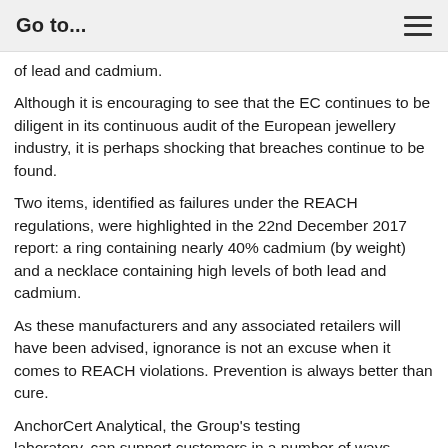Go to...
of lead and cadmium.
Although it is encouraging to see that the EC continues to be diligent in its continuous audit of the European jewellery industry, it is perhaps shocking that breaches continue to be found.
Two items, identified as failures under the REACH regulations, were highlighted in the 22nd December 2017 report: a ring containing nearly 40% cadmium (by weight) and a necklace containing high levels of both lead and cadmium.
As these manufacturers and any associated retailers will have been advised, ignorance is not an excuse when it comes to REACH violations. Prevention is always better than cure.
AnchorCert Analytical, the Group's testing laboratory, can support customers in a number of ways